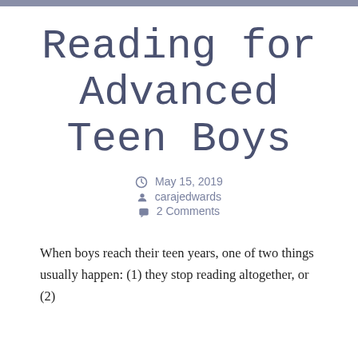Reading for Advanced Teen Boys
May 15, 2019
carajedwards
2 Comments
When boys reach their teen years, one of two things usually happen: (1) they stop reading altogether, or (2)